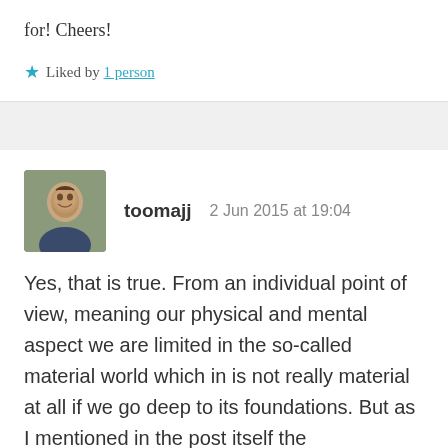for! Cheers!
★ Liked by 1 person
toomajj   2 Jun 2015 at 19:04
Yes, that is true. From an individual point of view, meaning our physical and mental aspect we are limited in the so-called material world which in is not really material at all if we go deep to its foundations. But as I mentioned in the post itself the transcendental consciousness is beyond the individual aspect and not a state of human consciousness at all. From the transcendental point of view the phenomenal world, including its science